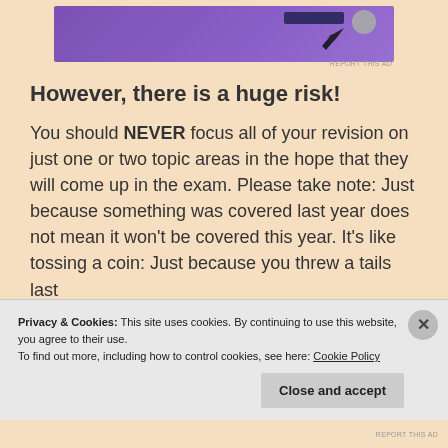[Figure (other): Purple advertisement banner at the top of the page with graphic elements including a cursor arrow and shapes]
However, there is a huge risk!
You should NEVER focus all of your revision on just one or two topic areas in the hope that they will come up in the exam. Please take note: Just because something was covered last year does not mean it won't be covered this year. It's like tossing a coin: Just because you threw a tails last
Privacy & Cookies: This site uses cookies. By continuing to use this website, you agree to their use.
To find out more, including how to control cookies, see here: Cookie Policy
Close and accept